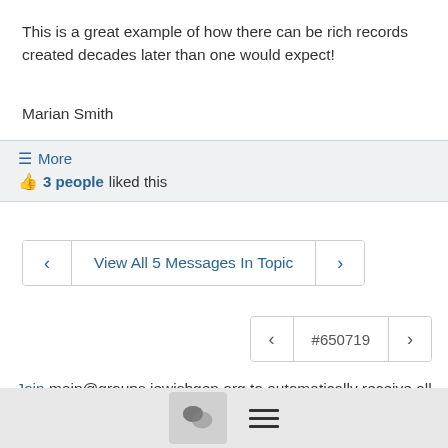This is a great example of how there can be rich records created decades later than one would expect!
Marian Smith
≡ More
👍 3 people liked this
< View All 5 Messages In Topic >
< #650719 >
Join main@groups.jewishgen.org to automatically receive all group messages
[Figure (screenshot): Bottom navigation bar with chat icon and hamburger menu]